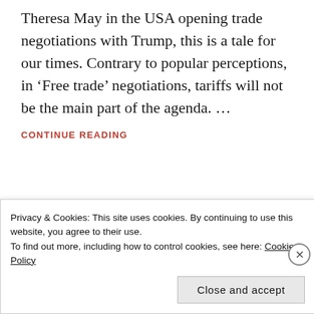Theresa May in the USA opening trade negotiations with Trump, this is a tale for our times. Contrary to popular perceptions, in ‘Free trade’ negotiations, tariffs will not be the main part of the agenda. …
CONTINUE READING
APRIL 7, 2016 | ECONOMY, LEEDS LABOUR
Privacy & Cookies: This site uses cookies. By continuing to use this website, you agree to their use.
To find out more, including how to control cookies, see here: Cookie Policy